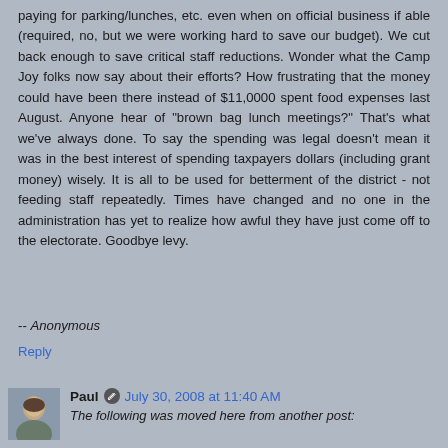paying for parking/lunches, etc. even when on official business if able (required, no, but we were working hard to save our budget). We cut back enough to save critical staff reductions. Wonder what the Camp Joy folks now say about their efforts? How frustrating that the money could have been there instead of $11,0000 spent food expenses last August. Anyone hear of "brown bag lunch meetings?" That's what we've always done. To say the spending was legal doesn't mean it was in the best interest of spending taxpayers dollars (including grant money) wisely. It is all to be used for betterment of the district - not feeding staff repeatedly. Times have changed and no one in the administration has yet to realize how awful they have just come off to the electorate. Goodbye levy.
-- Anonymous
Reply
[Figure (photo): Small avatar photo of a man (Paul)]
Paul  July 30, 2008 at 11:40 AM
The following was moved here from another post: